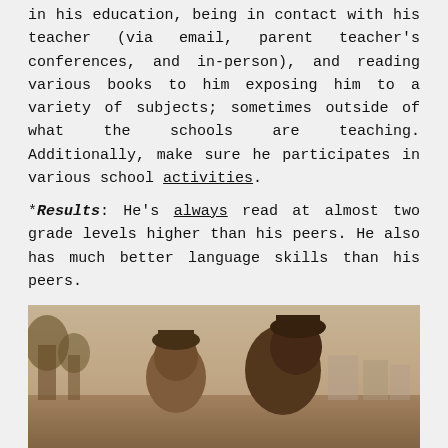in his education, being in contact with his teacher (via email, parent teacher's conferences, and in-person), and reading various books to him exposing him to a variety of subjects; sometimes outside of what the schools are teaching. Additionally, make sure he participates in various school activities.
*Results: He's always read at almost two grade levels higher than his peers. He also has much better language skills than his peers.
[Figure (photo): Sepia-toned photo of two people outdoors, appearing to be an adult and a child or young person, in a park-like setting with trees and buildings in the background.]